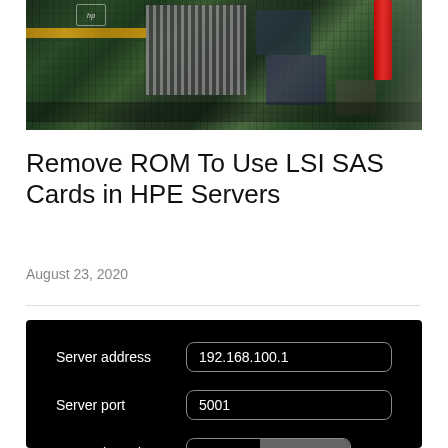[Figure (photo): Close-up photograph of an HP server motherboard/PCB with heatsinks, gold connector strips, and red cables visible.]
Remove ROM To Use LSI SAS Cards in HPE Servers
August 23, 2020
[Figure (screenshot): Dark UI screenshot showing server connection settings: Server address field with value 192.168.100.1, Server port field with value 5001, and Transmit mode toggle with Upload and Download (selected) options.]